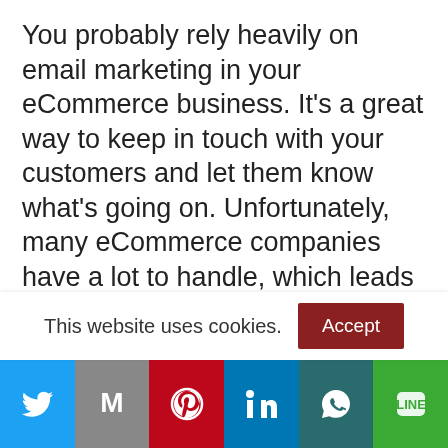You probably rely heavily on email marketing in your eCommerce business. It's a great way to keep in touch with your customers and let them know what's going on. Unfortunately, many eCommerce companies have a lot to handle, which leads to them outsourcing their email marketing to an outside firm. While most outside firms and freelancers understand and respect data privacy, you still can't control how they handle things. Don't risk allowing someone else to
This website uses cookies.
Accept